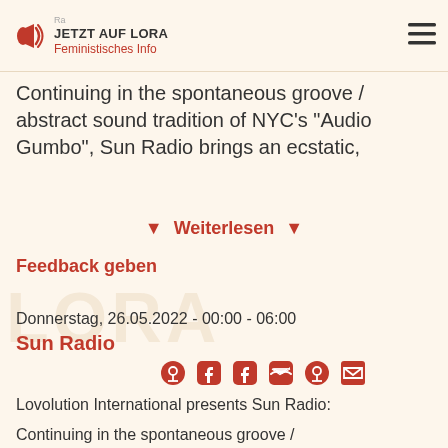JETZT AUF LORA / Feministisches Info
Continuing in the spontaneous groove / abstract sound tradition of NYC's "Audio Gumbo", Sun Radio brings an ecstatic,
Weiterlesen
Feedback geben
Donnerstag, 26.05.2022 - 00:00 - 06:00
Sun Radio
Lovolution International presents Sun Radio:
Continuing in the spontaneous groove / abstract sound tradition of NYC's "Audio